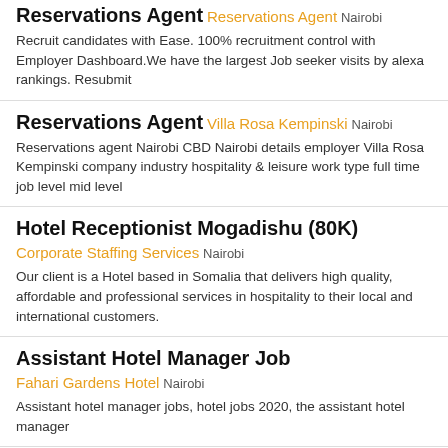Reservations Agent
Reservations Agent
Nairobi
Recruit candidates with Ease. 100% recruitment control with Employer Dashboard.We have the largest Job seeker visits by alexa rankings. Resubmit
Reservations Agent
Villa Rosa Kempinski
Nairobi
Reservations agent Nairobi CBD Nairobi details employer Villa Rosa Kempinski company industry hospitality & leisure work type full time job level mid level
Hotel Receptionist Mogadishu (80K)
Corporate Staffing Services
Nairobi
Our client is a Hotel based in Somalia that delivers high quality, affordable and professional services in hospitality to their local and international customers.
Assistant Hotel Manager Job
Fahari Gardens Hotel
Nairobi
Assistant hotel manager jobs, hotel jobs 2020, the assistant hotel manager